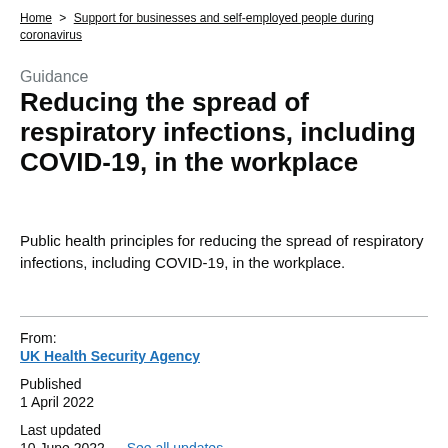Home > Support for businesses and self-employed people during coronavirus
Guidance
Reducing the spread of respiratory infections, including COVID-19, in the workplace
Public health principles for reducing the spread of respiratory infections, including COVID-19, in the workplace.
From:
UK Health Security Agency
Published
1 April 2022
Last updated
10 June 2022 — See all updates